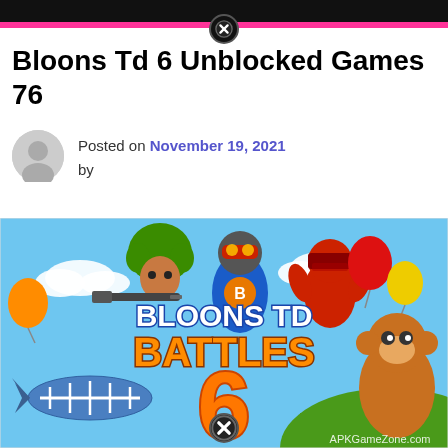Bloons Td 6 Unblocked Games 76
Posted on November 19, 2021 by
[Figure (screenshot): Bloons TD Battles 6 game promotional image showing cartoon characters including a ninja, monkey, and bloons, with the orange number 6, a blue blimp, and the text 'Bloons TD Battles' on a sky background. Watermark reads APKGameZone.com]